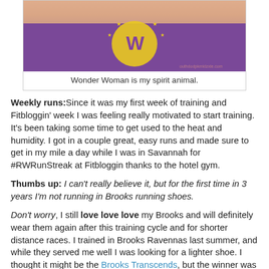[Figure (photo): Person wearing a Wonder Woman logo t-shirt (purple with yellow WW emblem and stars). Partial torso view. Watermark: outhdodpkmidzxle.com]
Wonder Woman is my spirit animal.
Weekly runs: Since it was my first week of training and Fitbloggin' week I was feeling really motivated to start training. It's been taking some time to get used to the heat and humidity. I got in a couple great, easy runs and made sure to get in my mile a day while I was in Savannah for #RWRunStreak at Fitbloggin thanks to the hotel gym.
Thumbs up: I can't really believe it, but for the first time in 3 years I'm not running in Brooks running shoes.
Don't worry, I still love love love my Brooks and will definitely wear them again after this training cycle and for shorter distance races. I trained in Brooks Ravennas last summer, and while they served me well I was looking for a lighter shoe. I thought it might be the Brooks Transcends, but the winner was the Adidas Energy Boost 2, which I also had wear-tested at a Charm City Run Thursday fun run. They